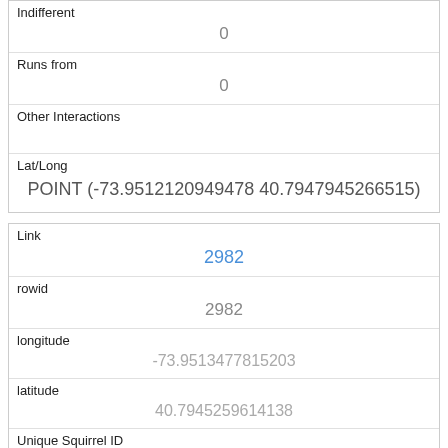| Indifferent | 0 |
| Runs from | 0 |
| Other Interactions |  |
| Lat/Long | POINT (-73.9512120949478 40.7947945266515) |
| Link | 2982 |
| rowid | 2982 |
| longitude | -73.9513477815203 |
| latitude | 40.7945259614138 |
| Unique Squirrel ID | 39I-PM-1013-02 |
| Hectare | 39I |